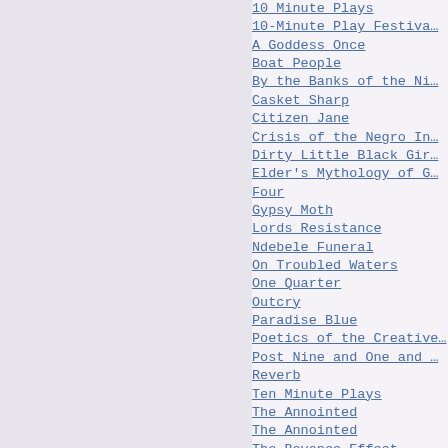10 Minute Plays
10-Minute Play Festival…
A Goddess Once
Boat People
By the Banks of the Ni…
Casket Sharp
Citizen Jane
Crisis of the Negro In…
Dirty Little Black Gir…
Elder's Mythology of G…
Four
Gypsy Moth
Lords Resistance
Ndebele Funeral
On Troubled Waters
One Quarter
Outcry
Paradise Blue
Poetics of the Creative…
Post Nine and One and …
Reverb
Ten Minute Plays
The Annointed
The Annointed
The Beyonce Effect